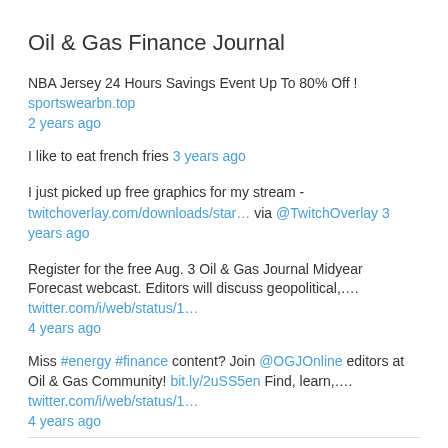Oil & Gas Finance Journal
NBA Jersey 24 Hours Savings Event Up To 80% Off ! sportswearbn.top
2 years ago
I like to eat french fries 3 years ago
I just picked up free graphics for my stream - twitchoverlay.com/downloads/star… via @TwitchOverlay 3 years ago
Register for the free Aug. 3 Oil & Gas Journal Midyear Forecast webcast. Editors will discuss geopolitical,… twitter.com/i/web/status/1… 4 years ago
Miss #energy #finance content? Join @OGJOnline editors at Oil & Gas Community! bit.ly/2uSS5en Find, learn,… twitter.com/i/web/status/1… 4 years ago